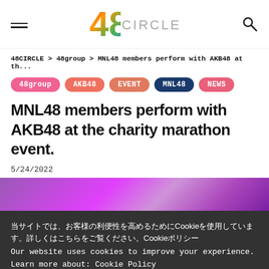48CIRCLE
48CIRCLE > 48group > MNL48 members perform with AKB48 at th...
48group
AKB48
EVENT
MNL48
NEWS
MNL48 members perform with AKB48 at the charity marathon event.
5/24/2022
[Figure (photo): Stage photo with purple/magenta lighting, concert or event performance setting]
当サイトでは、お客様の利便性を高めるためにCookieを使用しています。詳しくはこちらをご覧ください。Cookieポリシー
Our website uses cookies to improve your experience. Learn more about: Cookie Policy
同意する